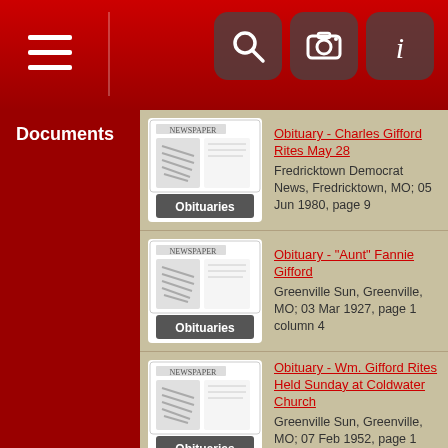Documents
Obituary - Charles Gifford Rites May 28
Fredricktown Democrat News, Fredricktown, MO; 05 Jun 1980, page 9
Obituary - "Aunt" Fannie Gifford
Greenville Sun, Greenville, MO; 03 Mar 1927, page 1 column 4
Obituary - Wm. Gifford Rites Held Sunday at Coldwater Church
Greenville Sun, Greenville, MO; 07 Feb 1952, page 1 column 1
Letter from Marie Timmons to Jamie Burnett; 21 Jan 1988
Death Certificate - Francis Elizabeth Gifford, 1927